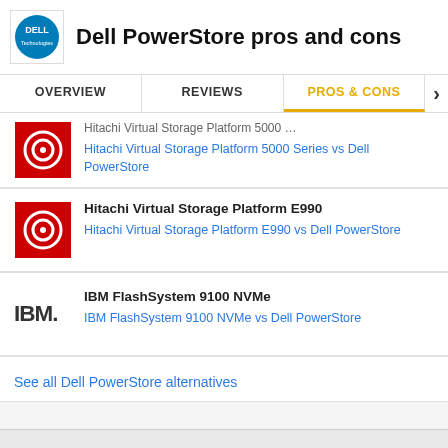Dell PowerStore pros and cons
OVERVIEW | REVIEWS | PROS & CONS
Hitachi Virtual Storage Platform 5000 Series
Hitachi Virtual Storage Platform 5000 Series vs Dell PowerStore
Hitachi Virtual Storage Platform E990
Hitachi Virtual Storage Platform E990 vs Dell PowerStore
IBM FlashSystem 9100 NVMe
IBM FlashSystem 9100 NVMe vs Dell PowerStore
See all Dell PowerStore alternatives